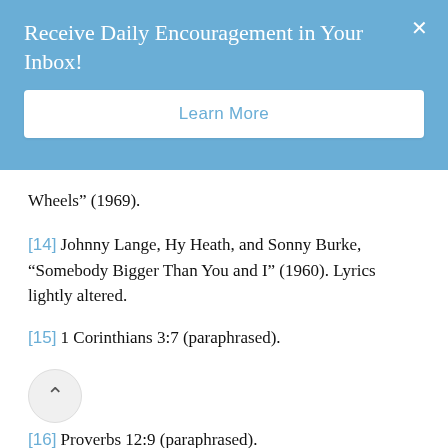Receive Daily Encouragement in Your Inbox!
Learn More
Wheels” (1969).
[14] Johnny Lange, Hy Heath, and Sonny Burke, “Somebody Bigger Than You and I” (1960). Lyrics lightly altered.
[15] 1 Corinthians 3:7 (paraphrased).
[16] Proverbs 12:9 (paraphrased).